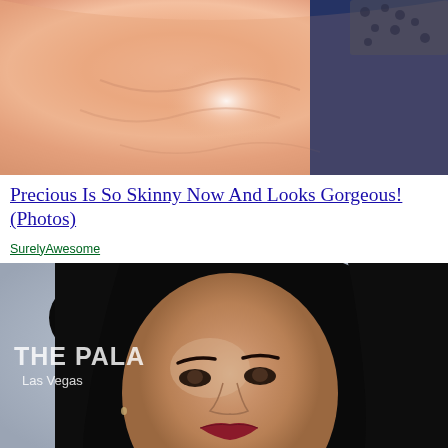[Figure (photo): Close-up photo of a person wearing a pink/salmon colored outfit with a leopard print accessory visible at top right, and another person in a dark blue jacket partially visible]
Precious Is So Skinny Now And Looks Gorgeous! (Photos)
SurelyAwesome
[Figure (photo): Portrait photo of a woman with short black bob haircut, red lipstick, wearing a black outfit, photographed in front of a backdrop reading 'THE PALA Las Vegas']